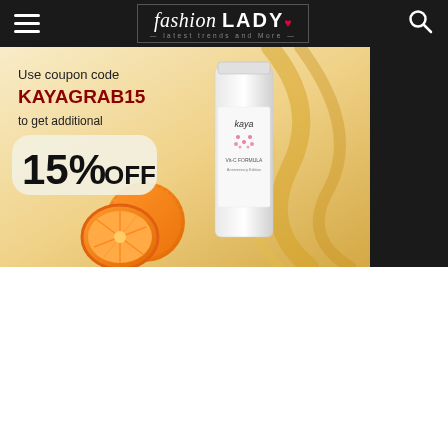fashion LADY — latest trends and more — [navigation bar with hamburger menu and search icon]
[Figure (photo): Advertisement banner for Kaya skincare product. Cream/golden background with text: 'Use coupon code KAYAGRAB15 to get additional 15% OFF'. Shows a Kaya brand vitamin C formula serum bottle and a halved orange with golden oil swirls.]